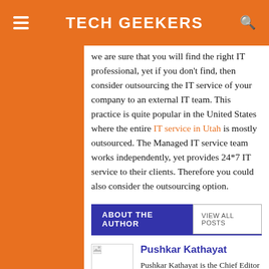TECH GEEKERS
we are sure that you will find the right IT professional, yet if you don't find, then consider outsourcing the IT service of your company to an external IT team. This practice is quite popular in the United States where the entire IT service in Utah is mostly outsourced. The Managed IT service team works independently, yet provides 24*7 IT service to their clients. Therefore you could also consider the outsourcing option.
ABOUT THE AUTHOR
VIEW ALL POSTS
Pushkar Kathayat
Pushkar Kathayat is the Chief Editor of TechGeekers. His passion is